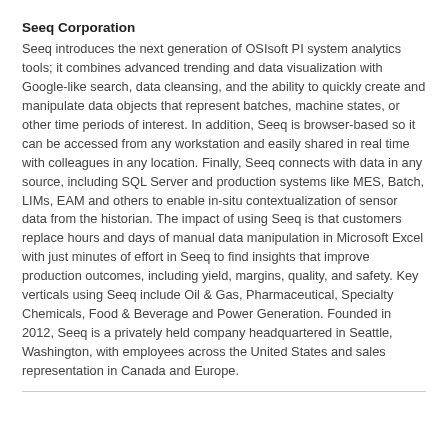Seeq Corporation
Seeq introduces the next generation of OSIsoft PI system analytics tools; it combines advanced trending and data visualization with Google-like search, data cleansing, and the ability to quickly create and manipulate data objects that represent batches, machine states, or other time periods of interest. In addition, Seeq is browser-based so it can be accessed from any workstation and easily shared in real time with colleagues in any location. Finally, Seeq connects with data in any source, including SQL Server and production systems like MES, Batch, LIMs, EAM and others to enable in-situ contextualization of sensor data from the historian. The impact of using Seeq is that customers replace hours and days of manual data manipulation in Microsoft Excel with just minutes of effort in Seeq to find insights that improve production outcomes, including yield, margins, quality, and safety. Key verticals using Seeq include Oil & Gas, Pharmaceutical, Specialty Chemicals, Food & Beverage and Power Generation. Founded in 2012, Seeq is a privately held company headquartered in Seattle, Washington, with employees across the United States and sales representation in Canada and Europe.